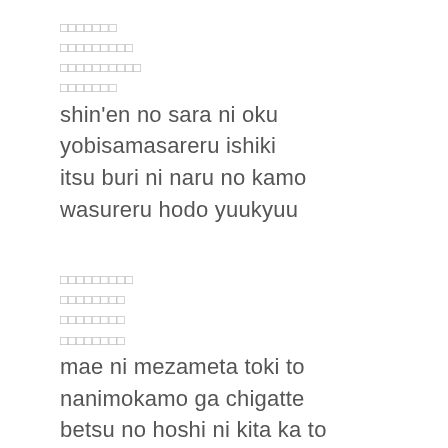□□□□□□□
□□□□□□□□□
□□□□□□□□□□
□□□□□□□
shin'en no sara ni oku
yobisamasareru ishiki
itsu buri ni naru no kamo
wasureru hodo yuukyuu
□□□□□□□□□
□□□□□□□□
□□□□□□□□
□□□□□□□□
mae ni mezameta toki to
nanimokamo ga chigatte
betsu no hoshi ni kita ka to